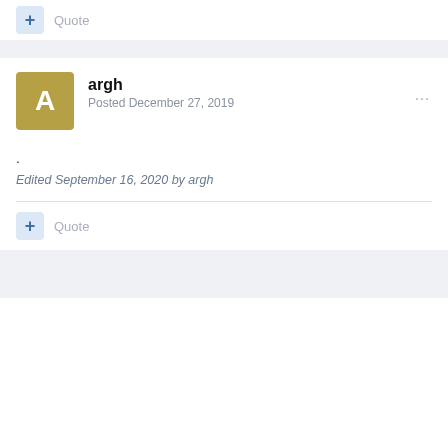+ Quote
argh
Posted December 27, 2019
.
Edited September 16, 2020 by argh
+ Quote